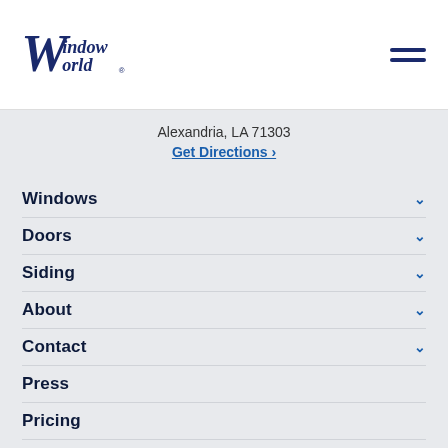[Figure (logo): Window World logo in dark navy blue cursive/script font]
Alexandria, LA 71303
Get Directions ›
Windows
Doors
Siding
About
Contact
Press
Pricing
Financing